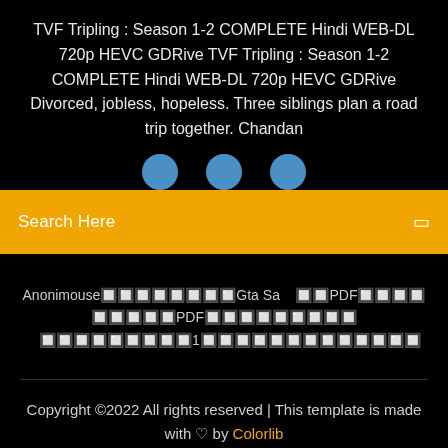TVF Tripling : Season 1-2 COMPLETE Hindi WEB-DL 720p HEVC GDRive TVF Tripling : Season 1-2 COMPLETE Hindi WEB-DL 720p HEVC GDRive Divorced, jobless, hopeless. Three siblings plan a road trip together. Chandan
[Figure (other): Three blue circular avatar icons in a row]
Search Here
Anonimouse🔲🔲🔲🔲🔲🔲🔲🔲Gta Sa   🔲🔲PDF🔲🔲🔲🔲 🔲🔲🔲🔲🔲PDF🔲🔲🔲🔲🔲🔲🔲🔲🔲   🔲🔲🔲🔲🔲🔲🔲🔲🔲1🔲🔲🔲🔲🔲🔲🔲🔲🔲🔲🔲🔲🔲
Copyright ©2022 All rights reserved | This template is made with ♡ by Colorlib